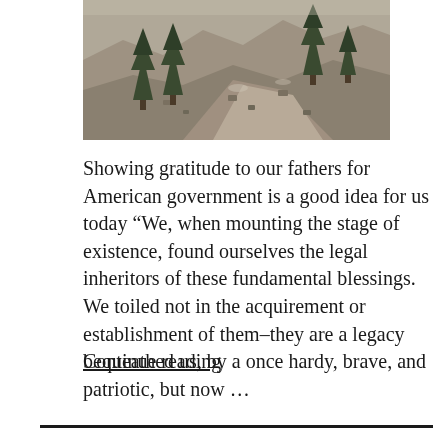[Figure (photo): Photograph of rocky mountain terrain with evergreen trees (pines/firs) growing among large grey rocks and a rocky slope.]
Showing gratitude to our fathers for American government is a good idea for us today “We, when mounting the stage of existence, found ourselves the legal inheritors of these fundamental blessings. We toiled not in the acquirement or establishment of them–they are a legacy bequeathed us, by a once hardy, brave, and patriotic, but now …
Continue reading